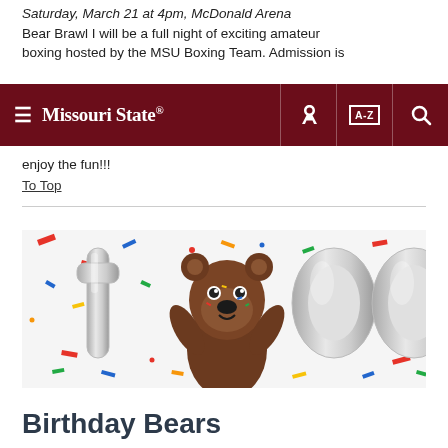Saturday, March 21 at 4pm, McDonald Arena
Bear Brawl I will be a full night of exciting amateur boxing hosted by the MSU Boxing Team. Admission is
Missouri State [navigation bar with hamburger menu, key icon, A-Z index, search icon]
enjoy the fun!!!
To Top
[Figure (photo): A Missouri State University bear mascot costume character standing in front of large silver balloon numbers '100' with colorful confetti scattered in the background on a white surface.]
Birthday Bears